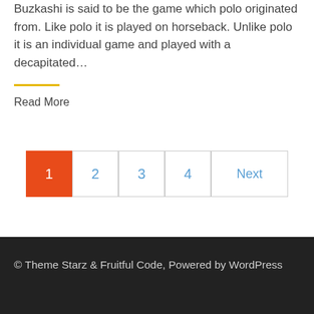Buzkashi is said to be the game which polo originated from. Like polo it is played on horseback. Unlike polo it is an individual game and played with a decapitated…
Read More
1 2 3 4 Next
© Theme Starz & Fruitful Code, Powered by WordPress